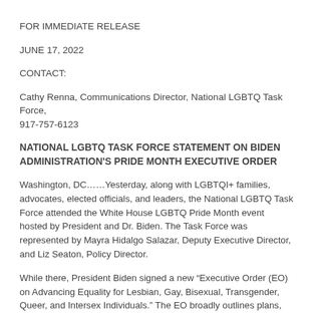FOR IMMEDIATE RELEASE
JUNE 17, 2022
CONTACT:
Cathy Renna, Communications Director, National LGBTQ Task Force, 917-757-6123
NATIONAL LGBTQ TASK FORCE STATEMENT ON BIDEN ADMINISTRATION'S PRIDE MONTH EXECUTIVE ORDER
Washington, DC……Yesterday, along with LGBTQI+ families, advocates, elected officials, and leaders, the National LGBTQ Task Force attended the White House LGBTQ Pride Month event hosted by President and Dr. Biden. The Task Force was represented by Mayra Hidalgo Salazar, Deputy Executive Director, and Liz Seaton, Policy Director.
While there, President Biden signed a new "Executive Order (EO) on Advancing Equality for Lesbian, Gay, Bisexual, Transgender, Queer, and Intersex Individuals." The EO broadly outlines plans, initiatives or